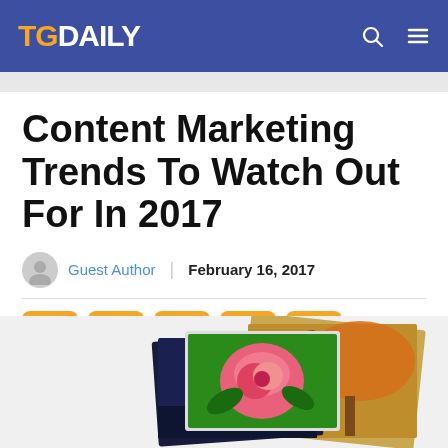TGDAILY
Content Marketing Trends To Watch Out For In 2017
Guest Author | February 16, 2017
[Figure (illustration): Social media share buttons: Facebook, WhatsApp, Twitter, LinkedIn, Email]
[Figure (photo): Stacked photos/images showing moon night scene, pink rose, and autumn tree landscape]